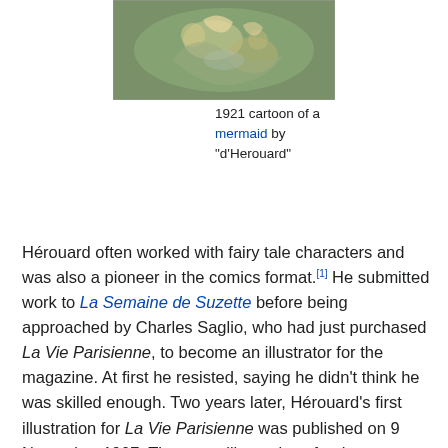[Figure (illustration): 1921 cartoon of a mermaid by d'Herouard, decorative illustration with floral and aquatic motifs]
1921 cartoon of a mermaid by "d'Herouard"
Hérouard often worked with fairy tale characters and was also a pioneer in the comics format.[1] He submitted work to La Semaine de Suzette before being approached by Charles Saglio, who had just purchased La Vie Parisienne, to become an illustrator for the magazine. At first he resisted, saying he didn't think he was skilled enough. Two years later, Hérouard's first illustration for La Vie Parisienne was published on 9 November 1907. The cover illustrations for the magazine were divided among several illustrators, with Hérouard contributing most frequently between 1916 through 1930. He continued his work with the magazine until 1952. He often created illustrations for books such as Dangerous Liaisons in 1945. For Pierrot,